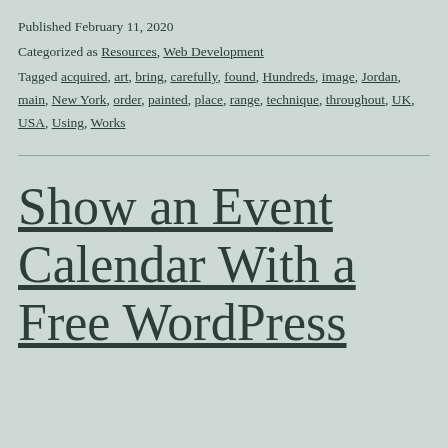Published February 11, 2020
Categorized as Resources, Web Development
Tagged acquired, art, bring, carefully, found, Hundreds, image, Jordan, main, New York, order, painted, place, range, technique, throughout, UK, USA, Using, Works
Show an Event Calendar With a Free WordPress